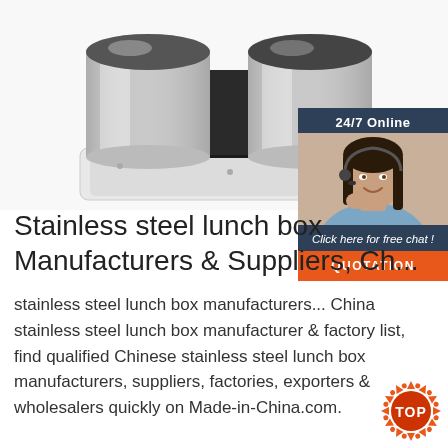[Figure (photo): Stainless steel industrial food mixer/grinder machine, silver and white, partially cropped at top of page]
[Figure (infographic): 24/7 Online chat widget with dark navy background, female customer service representative wearing headset, 'Click here for free chat!' text, and orange QUOTATION button]
Stainless steel lunch box Manufacturers & Suppliers, Ch...
stainless steel lunch box manufacturers... China stainless steel lunch box manufacturer & factory list, find qualified Chinese stainless steel lunch box manufacturers, suppliers, factories, exporters & wholesalers quickly on Made-in-China.com.
[Figure (logo): TOP badge/logo in orange and red colors at bottom right]